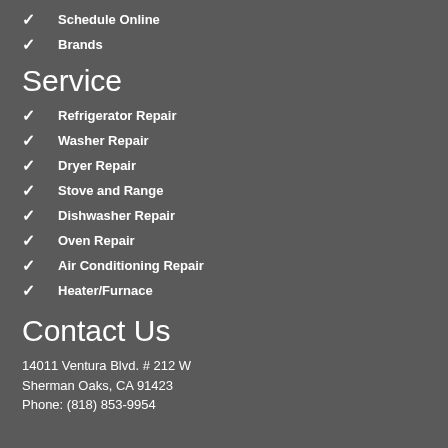Schedule Online
Brands
Service
Refrigerator Repair
Washer Repair
Dryer Repair
Stove and Range
Dishwasher Repair
Oven Repair
Air Conditioning Repair
Heater/Furnace
Contact Us
14011 Ventura Blvd. # 212 W
Sherman Oaks, CA 91423
Phone: (818) 853-9954